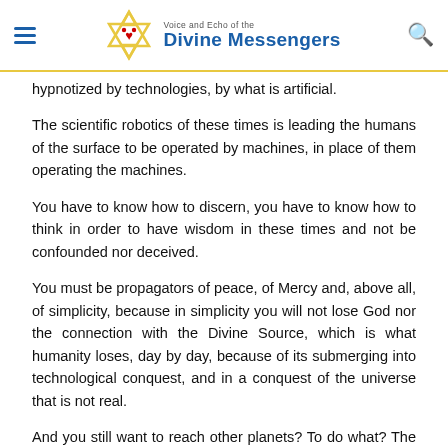Voice and Echo of the Divine Messengers
hypnotized by technologies, by what is artificial.
The scientific robotics of these times is leading the humans of the surface to be operated by machines, in place of them operating the machines.
You have to know how to discern, you have to know how to think in order to have wisdom in these times and not be confounded nor deceived.
You must be propagators of peace, of Mercy and, above all, of simplicity, because in simplicity you will not lose God nor the connection with the Divine Source, which is what humanity loses, day by day, because of its submerging into technological conquest, and in a conquest of the universe that is not real.
And you still want to reach other planets? To do what? The same